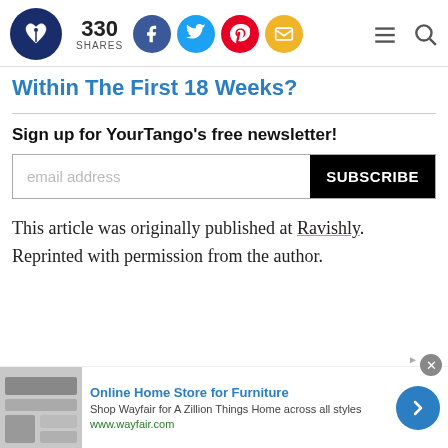330 SHARES — YourTango header with social share icons
Within The First 18 Weeks?
Sign up for YourTango's free newsletter!
email address [SUBSCRIBE]
This article was originally published at Ravishly. Reprinted with permission from the author.
[Figure (other): Advertisement banner for Wayfair: Online Home Store for Furniture. Shop Wayfair for A Zillion Things Home across all styles. www.wayfair.com]